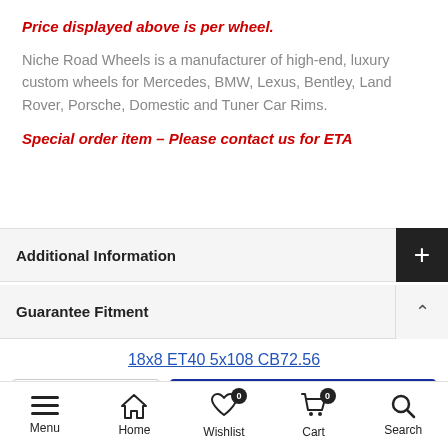Price displayed above is per wheel.
Niche Road Wheels is a manufacturer of high-end, luxury custom wheels for Mercedes, BMW, Lexus, Bentley, Land Rover, Porsche, Domestic and Tuner Car Rims.
Special order item – Please contact us for ETA
Additional Information
Guarantee Fitment
18x8 ET40 5x108 CB72.56
ADD TO CART
Menu  Home  Wishlist  Cart  Search